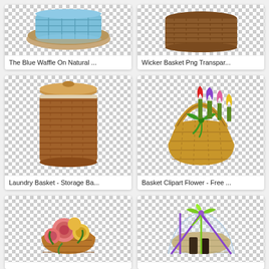[Figure (illustration): Blue waffle on natural background, transparent PNG clipart]
The Blue Waffle On Natural ...
[Figure (illustration): Wicker basket PNG transparent background clipart]
Wicker Basket Png Transpar...
[Figure (illustration): Laundry basket - storage basket, tall woven wicker hamper with lid]
Laundry Basket - Storage Ba...
[Figure (illustration): Basket clipart flower - free clipart of wicker basket with colorful tulips and green ribbon bow]
Basket Clipart Flower - Free ...
[Figure (illustration): Vintage floral basket with pink and yellow roses illustration]
[Figure (illustration): Gift basket with green and purple ribbon bow wrapped in cellophane]